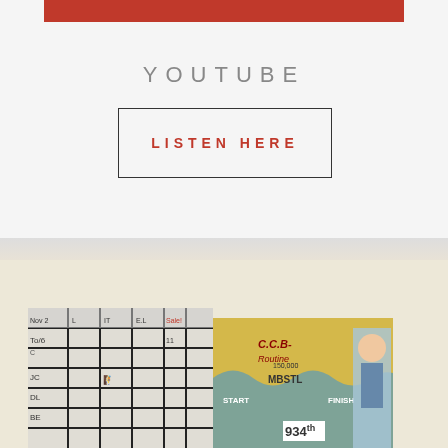[Figure (photo): Red banner/bar at the top of a white card section]
YOUTUBE
LISTEN HERE
[Figure (photo): Group photo showing people in front of whiteboards and game boards, including a grid chart and a colorful board game map labeled CCB, MBSTL, START, FINISH with the number 934]